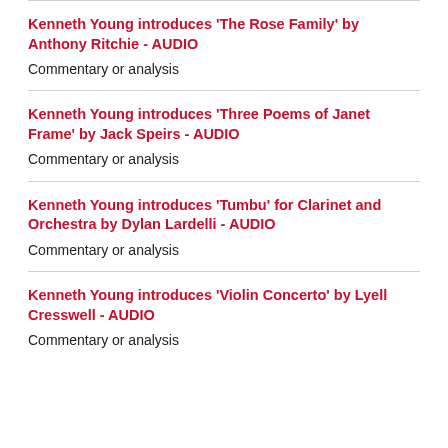Kenneth Young introduces 'The Rose Family' by Anthony Ritchie - AUDIO
Commentary or analysis
Kenneth Young introduces 'Three Poems of Janet Frame' by Jack Speirs - AUDIO
Commentary or analysis
Kenneth Young introduces 'Tumbu' for Clarinet and Orchestra by Dylan Lardelli - AUDIO
Commentary or analysis
Kenneth Young introduces 'Violin Concerto' by Lyell Cresswell - AUDIO
Commentary or analysis